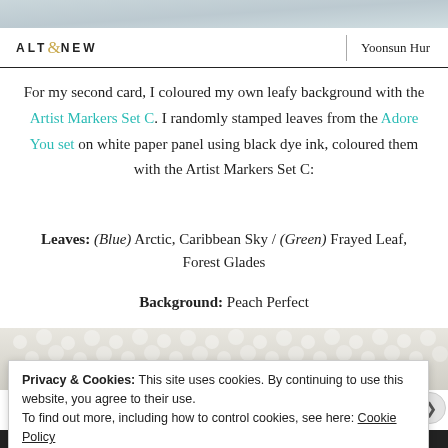[Figure (photo): Top decorative image strip showing soft blue-grey textured background]
ALTENEW | Yoonsun Hur
For my second card, I coloured my own leafy background with the Artist Markers Set C. I randomly stamped leaves from the Adore You set on white paper panel using black dye ink, coloured them with the Artist Markers Set C:
Leaves: (Blue) Arctic, Caribbean Sky / (Green) Frayed Leaf, Forest Glades
Background: Peach Perfect
[Figure (photo): Photo strip showing white knitted or crocheted textile texture]
Privacy & Cookies: This site uses cookies. By continuing to use this website, you agree to their use.
To find out more, including how to control cookies, see here: Cookie Policy
Close and accept